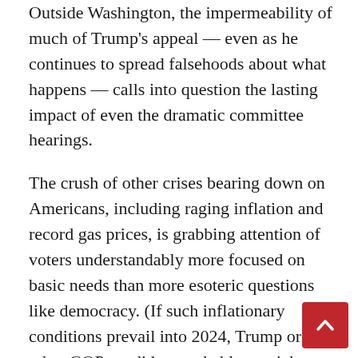Outside Washington, the impermeability of much of Trump's appeal — even as he continues to spread falsehoods about what happens — calls into question the lasting impact of even the dramatic committee hearings.
The crush of other crises bearing down on Americans, including raging inflation and record gas prices, is grabbing attention of voters understandably more focused on basic needs than more esoteric questions like democracy. (If such inflationary conditions prevail into 2024, Trump or any other GOP candidate probably won't have to do anything to steal power due to widespread dismay about Democrats.) Still, however damning the committee's final